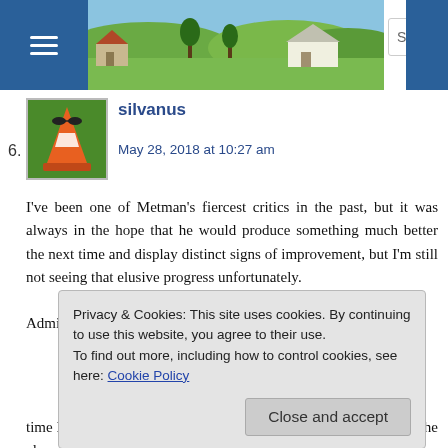Search bigdave44.c
6. silvanus
May 28, 2018 at 10:27 am
I've been one of Metman's fiercest critics in the past, but it was always in the hope that he would produce something much better the next time and display distinct signs of improvement, but I'm still not seeing that elusive progress unfortunately.
Admittedly the anagram count has been reduced this time
Privacy & Cookies: This site uses cookies. By continuing to use this website, you agree to their use.
To find out more, including how to control cookies, see here: Cookie Policy
Close and accept
time I felt were 16a and 34a. In a number of cases, the surface of the clue would read better if turned around,